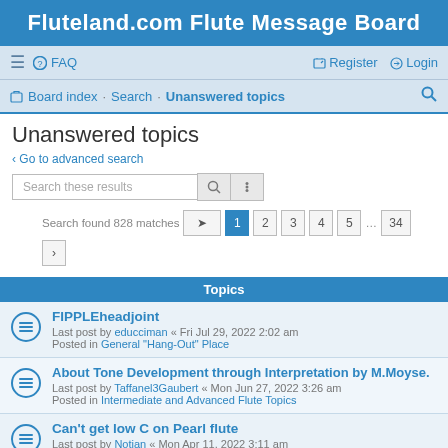Fluteland.com Flute Message Board
≡  FAQ    Register   Login
Board index · Search · Unanswered topics
Unanswered topics
< Go to advanced search
Search these results
Search found 828 matches  1 2 3 4 5 … 34 >
Topics
FIPPLEheadjoint
Last post by educciman « Fri Jul 29, 2022 2:02 am
Posted in General "Hang-Out" Place
About Tone Development through Interpretation by M.Moyse.
Last post by Taffanel3Gaubert « Mon Jun 27, 2022 3:26 am
Posted in Intermediate and Advanced Flute Topics
Can't get low C on Pearl flute
Last post by Notian « Mon Apr 11, 2022 3:11 am
Posted in Flute Repair and Maintenance